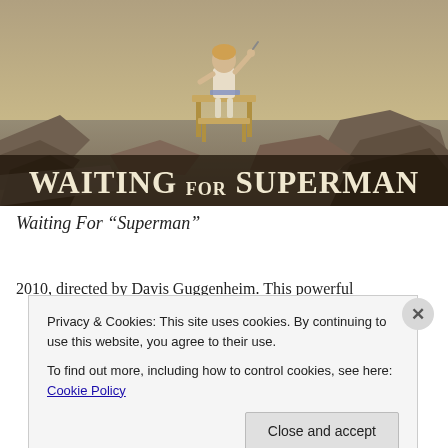[Figure (photo): Movie poster for 'Waiting for Superman' showing a child sitting at a school desk in a post-apocalyptic landscape with the title text 'WAITING FOR SUPERMAN' at the bottom]
Waiting For “Superman”
2010, directed by Davis Guggenheim. This powerful
Privacy & Cookies: This site uses cookies. By continuing to use this website, you agree to their use.
To find out more, including how to control cookies, see here: Cookie Policy